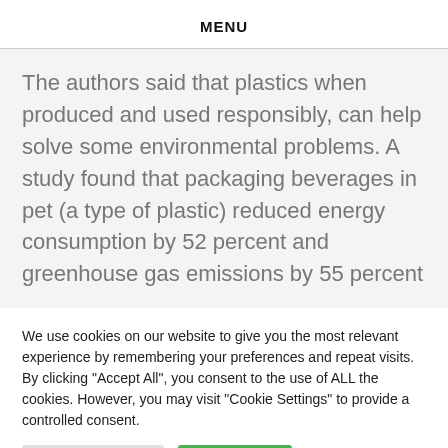MENU
The authors said that plastics when produced and used responsibly, can help solve some environmental problems. A study found that packaging beverages in pet (a type of plastic) reduced energy consumption by 52 percent and greenhouse gas emissions by 55 percent
We use cookies on our website to give you the most relevant experience by remembering your preferences and repeat visits. By clicking "Accept All", you consent to the use of ALL the cookies. However, you may visit "Cookie Settings" to provide a controlled consent.